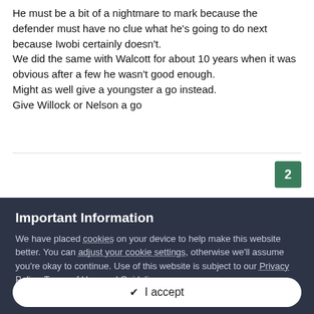He must be a bit of a nightmare to mark because the defender must have no clue what he's going to do next because Iwobi certainly doesn't.
We did the same with Walcott for about 10 years when it was obvious after a few he wasn't good enough.
Might as well give a youngster a go instead.
Give Willock or Nelson a go
2
Important Information
We have placed cookies on your device to help make this website better. You can adjust your cookie settings, otherwise we'll assume you're okay to continue. Use of this website is subject to our Privacy Policy, Terms of Use, and Guidelines.
✔ I accept